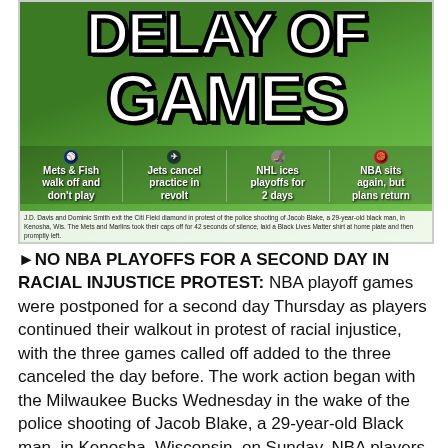[Figure (photo): Newspaper front page image showing baseball players walking off the field, with large white block-letter headline 'DELAY OF GAMES' over a green field background. Four sub-items: Mets & Fish walk off and don't play; Jets cancel practice in revolt; NHL ices playoffs for 2 days; NBA sits again, but plans return.]
J.D. Davis and Dominic Smith exit the Citi Field diamond in protest of the police shooting of Jacob Blake, a 29-year-old black man, in Kenosha, Wis. The Mets and Marlins took their caps off for 42 seconds of silence, laid a Black Lives Matter shirt at home plate and then promptly left.
►NO NBA PLAYOFFS FOR A SECOND DAY IN RACIAL INJUSTICE PROTEST: NBA playoff games were postponed for a second day Thursday as players continued their walkout in protest of racial injustice, with the three games called off added to the three canceled the day before. The work action began with the Milwaukee Bucks Wednesday in the wake of the police shooting of Jacob Blake, a 29-year-old Black man, in Kenosha, Wisconsin, on Sunday. NBA players considered not playing for the rest of the postseason and going home to their communities, but decided they would